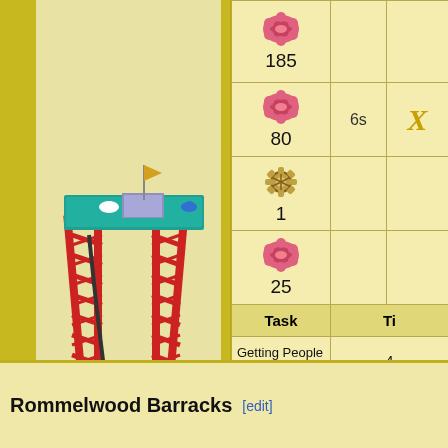[Figure (screenshot): Game screenshot showing a ship/Noah's ark style structure with a red lattice tower and blue base platform, rendered in isometric pixel art style]
| (icon/image) | (cost icons) | Ti(me) | (XP) |
| --- | --- | --- | --- |
| (ship image) | 185 (donut icon) |  |  |
|  | 80 (donut icon) | 6s | X(P icon) |
|  | 1 (gear icon) |  |  |
|  | 25 (donut icon) |  |  |
| Task | Ti(me) |  |  |
| Getting People Sick in Pairs | 4... |  |  |
Rommelwood Barracks [edit]